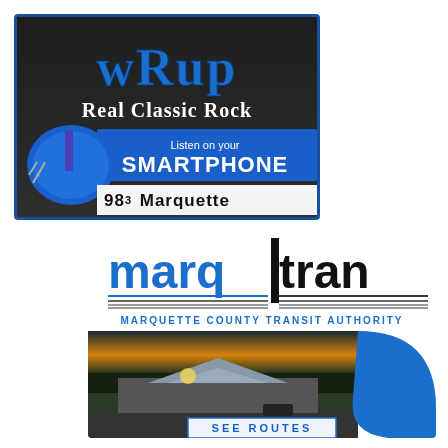[Figure (advertisement): WRUP Real Classic Rock radio station ad with football helmet. Text: 'wRup Real Classic Rock Listen on your SMARTPHONE 98.3 Marquette'. Dark background with blue border and football helmet graphic.]
[Figure (advertisement): Marqtran Marquette County Transit Authority ad. Logo with 'marq' in blue lowercase and 'tran' with black vertical stripe. Tagline: MARQUETTE COUNTY TRANSIT AUTHORITY. Photo of transit building with pavilion roof at sunset. Text at bottom: SEE ROUTES.]